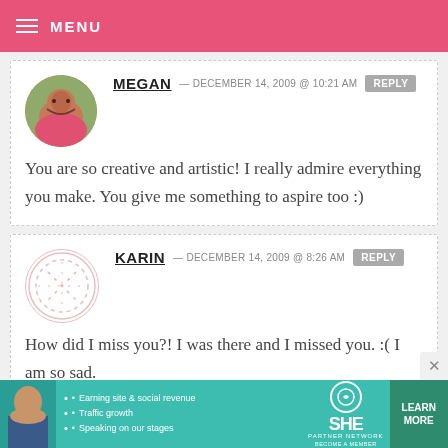MENU
MEGAN — DECEMBER 14, 2009 @ 10:21 AM  REPLY
You are so creative and artistic! I really admire everything you make. You give me something to aspire too :)
KARIN — DECEMBER 14, 2009 @ 8:26 AM  REPLY
How did I miss you?! I was there and I missed you. :( I am so sad.
Your tiny books are darling.
[Figure (infographic): SHE Partner Network advertisement banner with woman photo, bullet points about earning site & social revenue, traffic growth, speaking on our stages, and a LEARN MORE button]